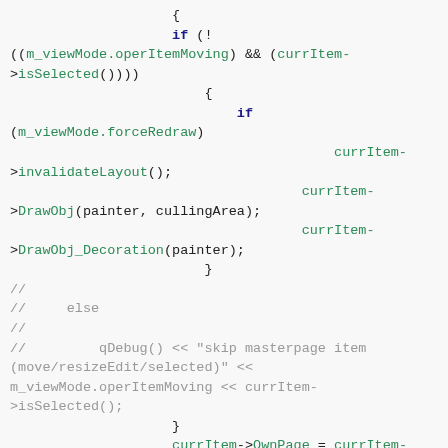[Figure (screenshot): Source code snippet in C++ showing conditional logic with if statements, method calls on currItem pointer (invalidateLayout, DrawObj, DrawObj_Decoration), commented-out else/qDebug block, and currItem->OwnPage assignment and ChangedMasterItem check.]